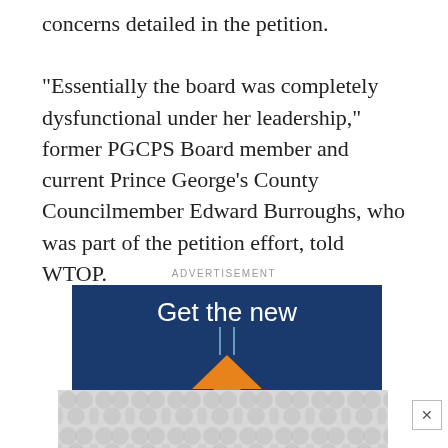concerns detailed in the petition. “Essentially the board was completely dysfunctional under her leadership,” former PGCPS Board member and current Prince George’s County Councilmember Edward Burroughs, who was part of the petition effort, told WTOP.
ADVERTISEMENT
[Figure (illustration): Advertisement banner with dark blue background showing text 'Get the new' and an orange triangular tree/arrow shape with light blue string lines above it.]
[Figure (illustration): Bottom advertisement banner with gray repeating circular pattern, and a close (x) button to the right.]